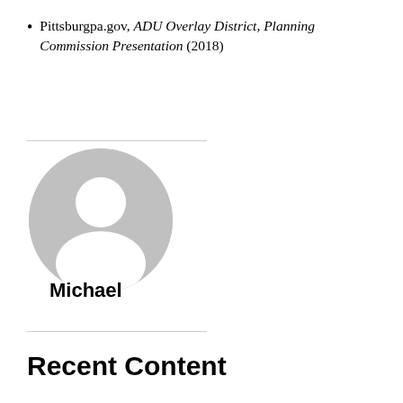Pittsburgpa.gov, ADU Overlay District, Planning Commission Presentation (2018)
[Figure (illustration): Generic user avatar icon — a circular grey silhouette showing a person's head and shoulders on a white background.]
Michael
Recent Content